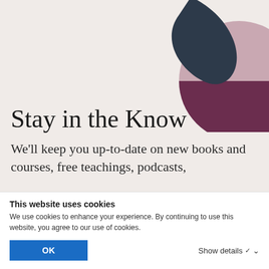[Figure (illustration): Abstract decorative shapes in top-right corner: a dark navy teardrop/crescent shape and a large circular shape split into mauve/dusty pink upper half and deep burgundy/plum lower half, on a warm pinkish-beige background.]
Stay in the Know
We'll keep you up-to-date on new books and courses, free teachings, podcasts,
This website uses cookies
We use cookies to enhance your experience. By continuing to use this website, you agree to our use of cookies.
OK
Show details